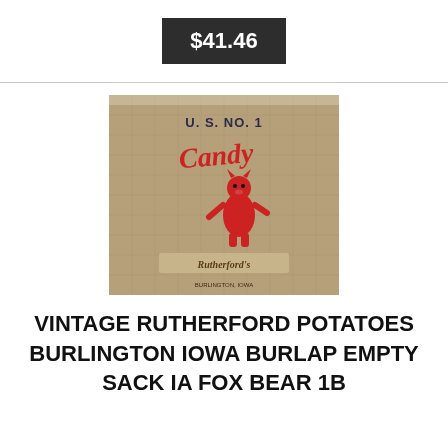$41.46
[Figure (photo): A vintage burlap potato sack with printed text reading 'U.S. NO. 1' at top and 'Candy' in colorful lettering with a cartoon character illustration. The sack appears tan/brown in color.]
VINTAGE RUTHERFORD POTATOES BURLINGTON IOWA BURLAP EMPTY SACK IA FOX BEAR 1B